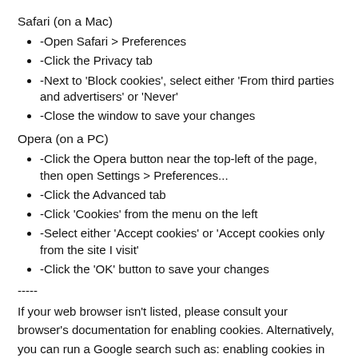Safari (on a Mac)
-Open Safari > Preferences
-Click the Privacy tab
-Next to 'Block cookies', select either 'From third parties and advertisers' or 'Never'
-Close the window to save your changes
Opera (on a PC)
-Click the Opera button near the top-left of the page, then open Settings > Preferences...
-Click the Advanced tab
-Click 'Cookies' from the menu on the left
-Select either 'Accept cookies' or 'Accept cookies only from the site I visit'
-Click the 'OK' button to save your changes
-----
If your web browser isn't listed, please consult your browser's documentation for enabling cookies. Alternatively, you can run a Google search such as: enabling cookies in